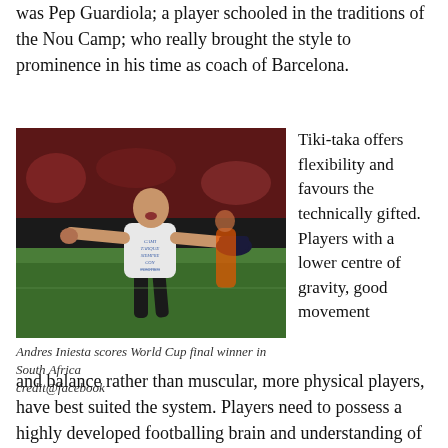was Pep Guardiola; a player schooled in the traditions of the Nou Camp; who really brought the style to prominence in his time as coach of Barcelona.
[Figure (photo): Andres Iniesta celebrating scoring the World Cup final winner, arms outstretched, wearing a white sleeveless shirt with writing on it, on a football pitch with crowd in background.]
Andres Iniesta scores World Cup final winner in South Africa credit@facebook
Tiki-taka offers flexibility and favours the technically gifted. Players with a lower centre of gravity, good movement and balance rather than muscular, more physical players, have best suited the system. Players need to possess a highly developed footballing brain and understanding of how to create and utilise space for themselves and team-mates. The